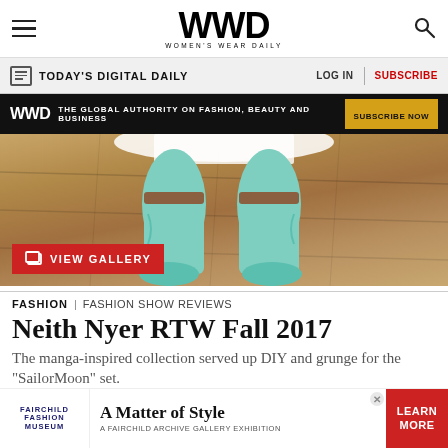WWD — Women's Wear Daily
TODAY'S DIGITAL DAILY | LOG IN | SUBSCRIBE
WWD THE GLOBAL AUTHORITY ON FASHION, BEAUTY AND BUSINESS SUBSCRIBE NOW
[Figure (photo): Close-up photo of light blue/mint cowboy boots worn with a white lace dress on a wooden floor, with a red VIEW GALLERY button overlay]
FASHION | FASHION SHOW REVIEWS
Neith Nyer RTW Fall 2017
The manga-inspired collection served up DIY and grunge for the "Sailor Moon" set.
[Figure (infographic): Fairchild Fashion Museum advertisement: A Matter of Style — A Fairchild Archive Gallery Exhibition. LEARN MORE button in red.]